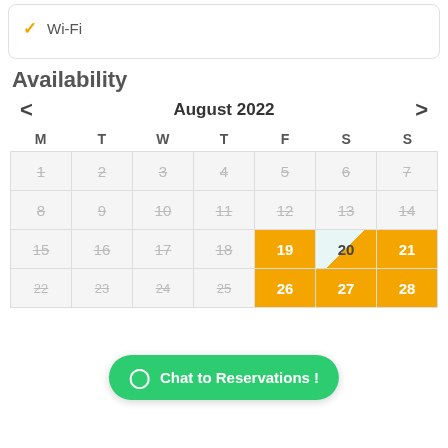Wi-Fi
Availability
[Figure (other): Calendar showing August 2022 availability. Days 1-18 are grayed out (past/unavailable with strikethrough). Days 19, 21 are orange (available). Day 20 is partial (half light blue, half orange). Days 26, 27, 28 are orange. Days 22-25 are partially visible at bottom.]
Chat to Reservations !